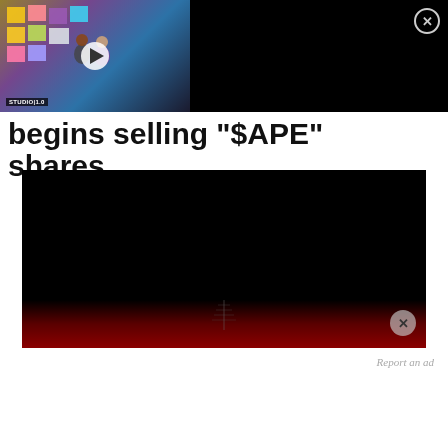[Figure (screenshot): Ad overlay video thumbnail showing Bloomberg Studio 1.0 metaverse environment with colorful sticky notes and virtual avatars, play button in center]
Microsoft Gaming CEO on Crypto & Metaverse
begins selling "$APE" shares
[Figure (screenshot): Dark video player showing cinema interior with red seats at bottom and stairs visible, close button in lower right corner]
Report an ad